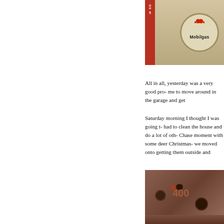[Figure (photo): Mobilgas sign with red Pegasus logo on circular emblem, partial view of a red-labeled item on the left]
All in all, yesterday was a very good pro- me to move around in the garage and get
Saturday morning I thought I was going t- had to clean the house and do a lot of oth- Chase moment with some deer Christmas- we moved onto getting them outside and
[Figure (photo): Rusty metal engine block or casting with holes, stamped with number 400 in red]
[Figure (photo): Engine parts and mechanical components laid out on a surface in a garage]